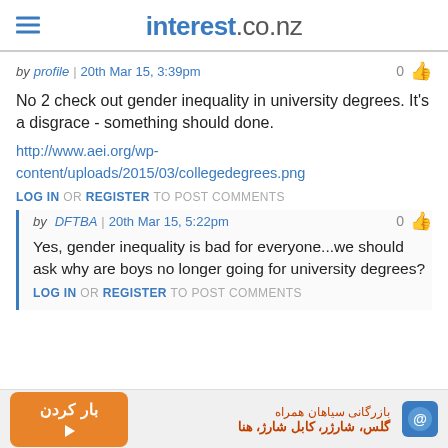interest.co.nz
by profile | 20th Mar 15, 3:39pm
No 2 check out gender inequality in university degrees. It's a disgrace - something should done.
http://www.aei.org/wp-content/uploads/2015/03/collegedegrees.png
LOG IN OR REGISTER TO POST COMMENTS
by DFTBA | 20th Mar 15, 5:22pm
Yes, gender inequality is bad for everyone...we should ask why are boys no longer going for university degrees?
LOG IN OR REGISTER TO POST COMMENTS